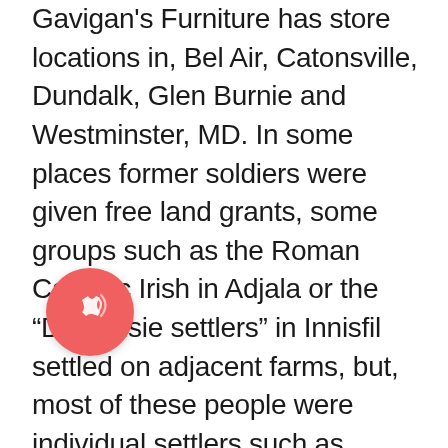Gavigan's Furniture has store locations in, Bel Air, Catonsville, Dundalk, Glen Burnie and Westminster, MD. In some places former soldiers were given free land grants, some groups such as the Roman Catholic Irish in Adjala or the “Dalhousie settlers” in Innisfil settled on adjacent farms, but, most of these people were individual settlers such as weavers and labourers who had been impoverished by the depression following the Napoleonic Wars. All layaway transactions are subject to our Layaway Policy. We have updated our Privacy Policy and Cookie Policy. Myers and Shaul Seidler Feller. WagJag is a division of Emerge Commerce Ltd. To our valued guests, families, suppliers and dear friends;It’s filled with bittersweet emotion that I am announcing a change is coming to The Combine. Upper Room Home Furnishings is your one stop shop for furniture, mattresses and accessories in the Ottawa, Nepean, Kanata, Orleans, Gatineau area. Dec 27th 2021 10:50 am You could have
[Figure (other): Pink/red circular phone call badge with a phone handset and signal waves icon, overlaid on the text.]